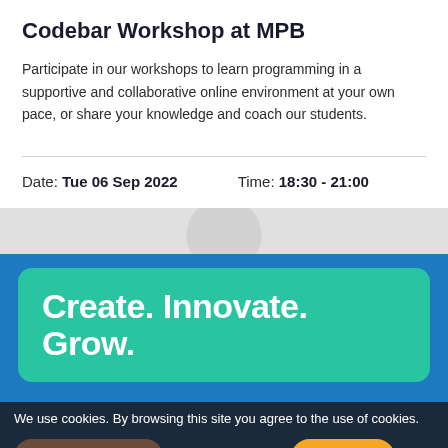Codebar Workshop at MPB
Participate in our workshops to learn programming in a supportive and collaborative online environment at your own pace, or share your knowledge and coach our students.
Date: Tue 06 Sep 2022    Time: 18:30 - 21:00
Create. Innovate. Grow.
Become a Wired Sussex Member and join our vibrant inspiring digital network.
We use cookies. By browsing this site you agree to the use of cookies.
Find out more   Find out more   I accept